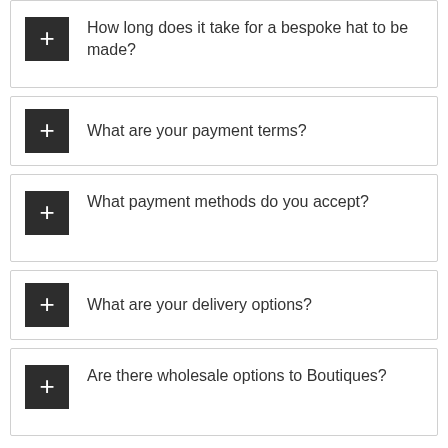How long does it take for a bespoke hat to be made?
What are your payment terms?
What payment methods do you accept?
What are your delivery options?
Are there wholesale options to Boutiques?